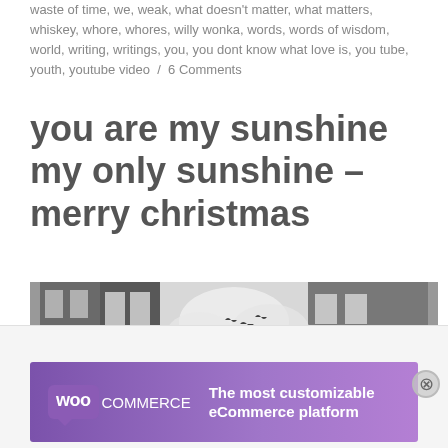waste of time, we, weak, what doesn't matter, what matters, whiskey, whore, whores, willy wonka, words, words of wisdom, world, writing, writings, you, you dont know what love is, you tube, youth, youtube video / 6 Comments
you are my sunshine my only sunshine – merry christmas
[Figure (photo): Black and white photograph looking up between two urban buildings at a cloudy sky with birds flying]
Advertisements
[Figure (infographic): WooCommerce advertisement banner: purple background with WooCommerce logo and text 'The most customizable eCommerce platform']